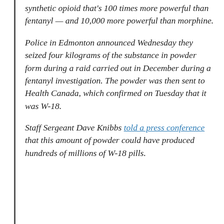synthetic opioid that's 100 times more powerful than fentanyl — and 10,000 more powerful than morphine.
Police in Edmonton announced Wednesday they seized four kilograms of the substance in powder form during a raid carried out in December during a fentanyl investigation. The powder was then sent to Health Canada, which confirmed on Tuesday that it was W-18.
Staff Sergeant Dave Knibbs told a press conference that this amount of powder could have produced hundreds of millions of W-18 pills.